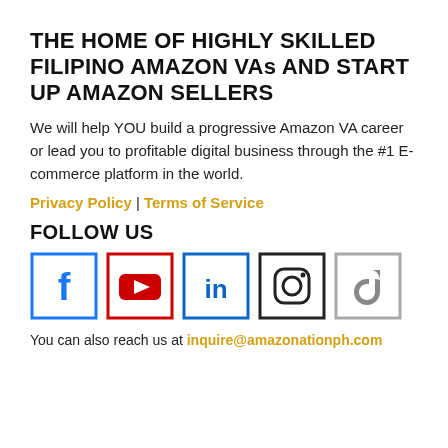THE HOME OF HIGHLY SKILLED FILIPINO AMAZON VAs AND START UP AMAZON SELLERS
We will help YOU build a progressive Amazon VA career or lead you to profitable digital business through the #1 E-commerce platform in the world.
Privacy Policy | Terms of Service
FOLLOW US
[Figure (other): Social media icons: Facebook, YouTube, LinkedIn, Instagram, TikTok]
You can also reach us at inquire@amazonationph.com